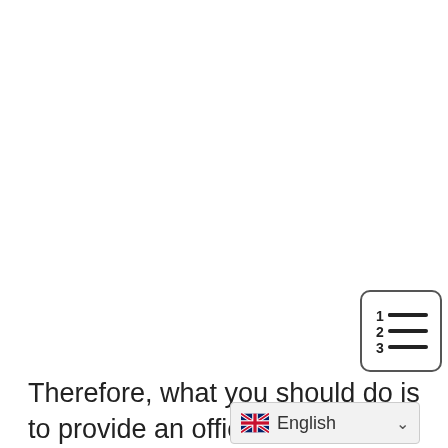[Figure (other): Numbered list icon with lines, shown in a rounded rectangle border]
Therefore, what you should do is to provide an official Declaration or Certificate to show as proof that you studied in English for the last four years.
[Figure (other): Language selector UI element showing UK flag and 'English' with a dropdown chevron]